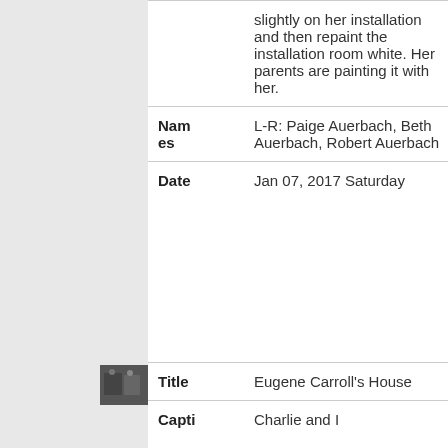|  | slightly on her installation and then repaint the installation room white. Her parents are painting it with her. |
| Names | L-R: Paige Auerbach, Beth Auerbach, Robert Auerbach |
| Date | Jan 07, 2017 Saturday |
[Figure (photo): Small thumbnail photo showing people, dark toned image]
| Title | Eugene Carroll's House |
| Capti | Charlie and I |